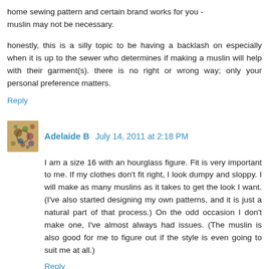home sewing pattern and certain brand works for you - muslin may not be necessary.
honestly, this is a silly topic to be having a backlash on especially when it is up to the sewer who determines if making a muslin will help with their garment(s). there is no right or wrong way; only your personal preference matters.
Reply
Adelaide B  July 14, 2011 at 2:18 PM
I am a size 16 with an hourglass figure. Fit is very important to me. If my clothes don't fit right, I look dumpy and sloppy. I will make as many muslins as it takes to get the look I want. (I've also started designing my own patterns, and it is just a natural part of that process.) On the odd occasion I don't make one, I've almost always had issues. (The muslin is also good for me to figure out if the style is even going to suit me at all.)
Reply